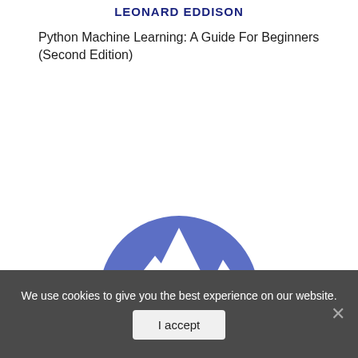LEONARD EDDISON
Python Machine Learning: A Guide For Beginners (Second Edition)
[Figure (logo): NordVPN-style mountain logo: blue semicircle with white mountain silhouette cutout]
We use cookies to give you the best experience on our website.
I accept